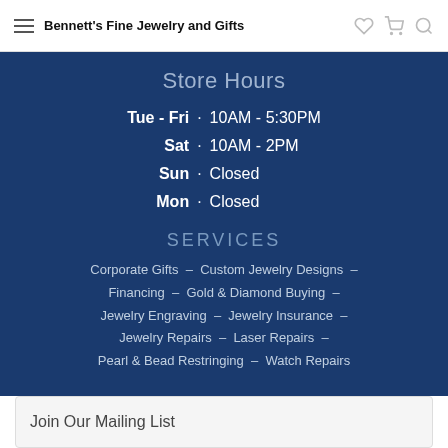Bennett's Fine Jewelry and Gifts
Store Hours
| Day | Dot | Hours |
| --- | --- | --- |
| Tue - Fri | · | 10AM - 5:30PM |
| Sat | · | 10AM - 2PM |
| Sun | · | Closed |
| Mon | · | Closed |
SERVICES
Corporate Gifts – Custom Jewelry Designs – Financing – Gold & Diamond Buying – Jewelry Engraving – Jewelry Insurance – Jewelry Repairs – Laser Repairs – Pearl & Bead Restringing – Watch Repairs
Join Our Mailing List